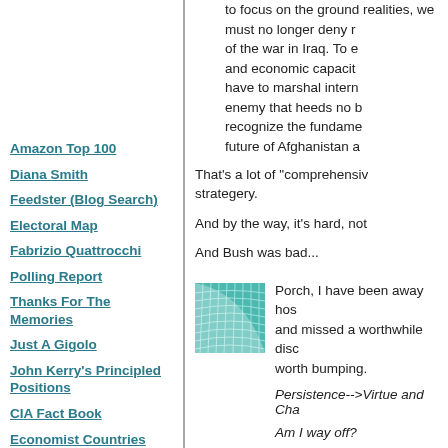Amazon Top 100
Diana Smith
Feedster (Blog Search)
Electoral Map
Fabrizio Quattrocchi
Polling Report
Thanks For The Memories
Just A Gigolo
John Kerry's Principled Positions
CIA Fact Book
Economist Countries
Google - Site
TypePad
Google
to focus on the ground realities, we must no longer deny reality of the war in Iraq. To ensure military and economic capacity, we will have to marshal international... enemy that heeds no borders... recognize the fundamental... future of Afghanistan a...
That's a lot of "comprehensive" strategery.
And by the way, it's hard, not...
And Bush was bad...
[Figure (illustration): Teal/green geometric spiral/grid pattern icon, square thumbnail]
Porch, I have been away hos... and missed a worthwhile disc... worth bumping.
Persistence-->Virtue and Cha...
Am I way off?